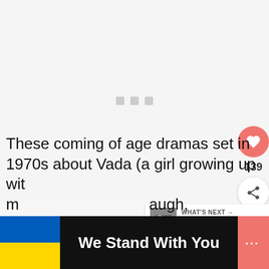[Figure (other): Large image placeholder area with light gray background and three small gray loading squares in the center]
[Figure (other): Social interaction panel with pink heart like button, count 139, and share button]
[Figure (other): What's Next widget showing a thumbnail and text '100+ Best Period Dram...']
These coming of age dramas set in 1970s about Vada (a girl growing up wit... m... augh,
[Figure (other): Banner: Ukraine flag, 'We Stand With You' text, close X button, pink icon on right]